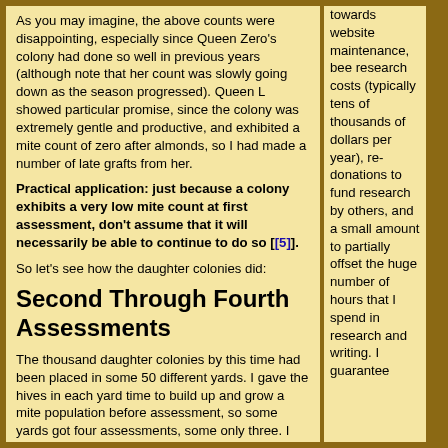As you may imagine, the above counts were disappointing, especially since Queen Zero's colony had done so well in previous years (although note that her count was slowly going down as the season progressed).  Queen L showed particular promise, since the colony was extremely gentle and productive, and exhibited a mite count of zero after almonds, so I had made a number of late grafts from her.
Practical application: just because a colony exhibits a very low mite count at first assessment, don't assume that it will necessarily be able to continue to do so [[5]].
So let's see how the daughter colonies did:
Second Through Fourth Assessments
The thousand daughter colonies by this time had been placed in some 50 different yards.  I gave the hives in each yard time to build up and grow a mite population before assessment, so some yards got four assessments, some only three.  I eliminated
towards website maintenance, bee research costs (typically tens of thousands of dollars per year), re-donations to fund research by others, and a small amount to partially offset the huge number of hours that I spend in research and writing.  I guarantee